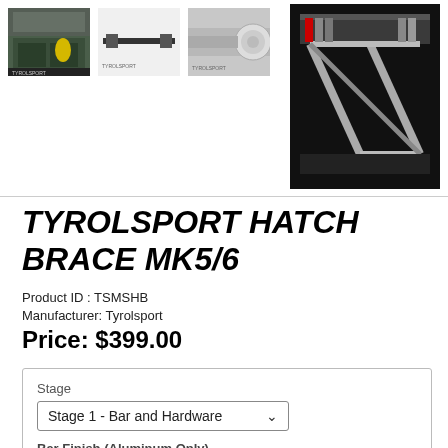[Figure (photo): Four product thumbnail images: car trunk interior, horizontal bar product, close-up detail, and large chrome rack/brace mounted in vehicle]
TYROLSPORT HATCH BRACE MK5/6
Product ID : TSMSHB
Manufacturer: Tyrolsport
Price: $399.00
Stage
Stage 1 - Bar and Hardware
Bar Finish (Aluminum Only)